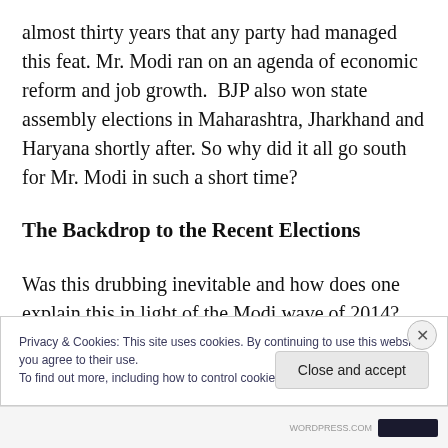almost thirty years that any party had managed this feat. Mr. Modi ran on an agenda of economic reform and job growth.  BJP also won state assembly elections in Maharashtra, Jharkhand and Haryana shortly after. So why did it all go south for Mr. Modi in such a short time?
The Backdrop to the Recent Elections
Was this drubbing inevitable and how does one explain this in light of the Modi wave of 2014? The answer is simple, the mandate was for economic development, more
Privacy & Cookies: This site uses cookies. By continuing to use this website, you agree to their use.
To find out more, including how to control cookies, see here: Cookie Policy